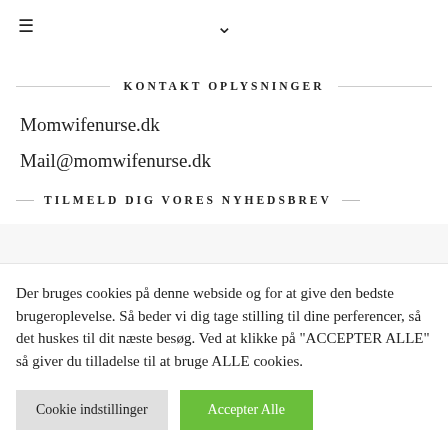≡  ∨
KONTAKT OPLYSNINGER
Momwifenurse.dk
Mail@momwifenurse.dk
TILMELD DIG VORES NYHEDSBREV
Der bruges cookies på denne webside og for at give den bedste brugeroplevelse. Så beder vi dig tage stilling til dine perferencer, så det huskes til dit næste besøg. Ved at klikke på "ACCEPTER ALLE" så giver du tilladelse til at bruge ALLE cookies.
Cookie indstillinger
Accepter Alle